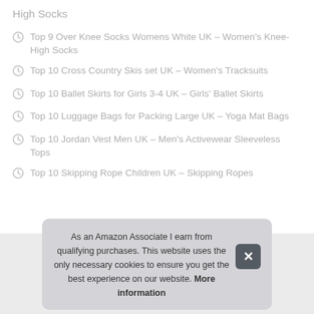High Socks
Top 9 Over Knee Socks Womens White UK – Women's Knee-High Socks
Top 10 Cross Country Skis set UK – Women's Tracksuits
Top 10 Ballet Skirts for Girls 3-4 UK – Girls' Ballet Skirts
Top 10 Luggage Bags for Packing Large UK – Yoga Mat Bags
Top 10 Jordan Vest Men UK – Men's Activewear Sleeveless Tops
Top 10 Skipping Rope Children UK – Skipping Ropes
As an Amazon Associate I earn from qualifying purchases. This website uses the only necessary cookies to ensure you get the best experience on our website. More information